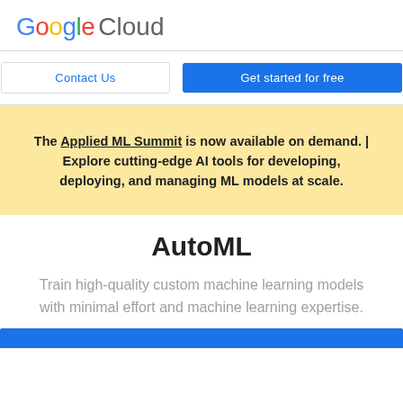Google Cloud
Contact Us | Get started for free
The Applied ML Summit is now available on demand. | Explore cutting-edge AI tools for developing, deploying, and managing ML models at scale.
AutoML
Train high-quality custom machine learning models with minimal effort and machine learning expertise.